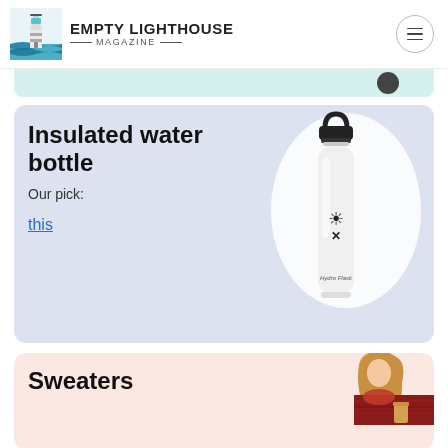EMPTY LIGHTHOUSE MAGAZINE
Insulated water bottle
Our pick:
this
[Figure (photo): White Hydro Flask insulated water bottle with black lid and handle, on a light purple/lavender background with white oval highlight]
Sweaters
[Figure (photo): Woman with blonde hair wearing a red/maroon patterned sweater, holding a cup]